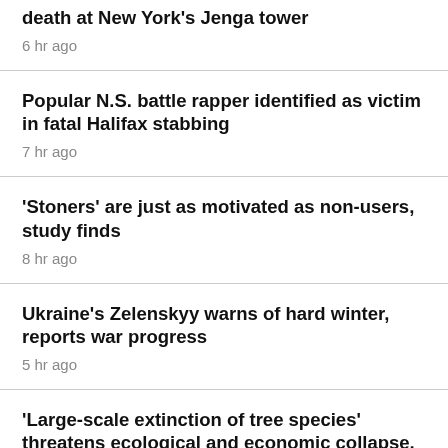death at New York's Jenga tower
6 hr ago
Popular N.S. battle rapper identified as victim in fatal Halifax stabbing
7 hr ago
'Stoners' are just as motivated as non-users, study finds
8 hr ago
Ukraine's Zelenskyy warns of hard winter, reports war progress
5 hr ago
'Large-scale extinction of tree species' threatens ecological and economic collapse, scientists warn